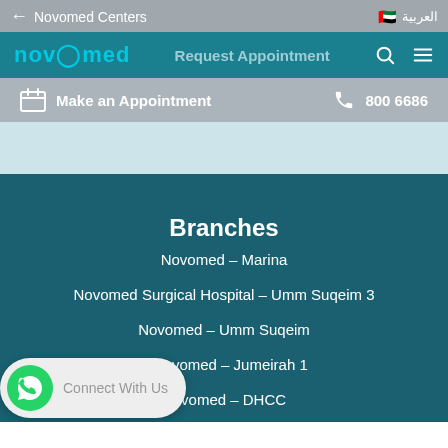← Novomed Centers   العربية 🇦🇪
[Figure (screenshot): Novomed website navigation bar with logo, 'Request Appointment' text, search and menu icons]
Make an Appointment   800 6686
Branches
Novomed – Marina
Novomed Surgical Hospital – Umm Suqeim 3
Novomed – Umm Suqeim
Novomed - Jumeirah 1
Novomed - DHCC
[Figure (other): WhatsApp Connect With Us button, green circle with phone icon and gray pill button]